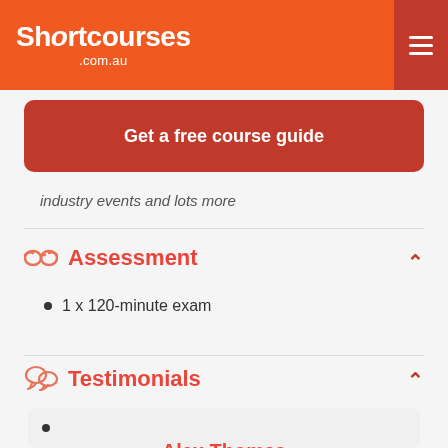Shortcourses .com.au
Get a free course guide
industry events and lots more
Assessment
1 x 120-minute exam
Testimonials
Alex Thomas
"My all-round networking and